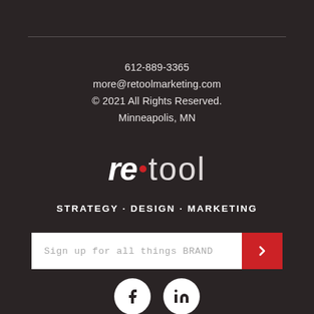612-889-3365
more@retoolmarketing.com
© 2021 All Rights Reserved.
Minneapolis, MN
[Figure (logo): re•tool logo with bold italic 're', red dot, and light 'tool' text]
STRATEGY · DESIGN · MARKETING
Sign up for all things BRAND
[Figure (illustration): Facebook and LinkedIn social media icons (white circles with dark logos)]